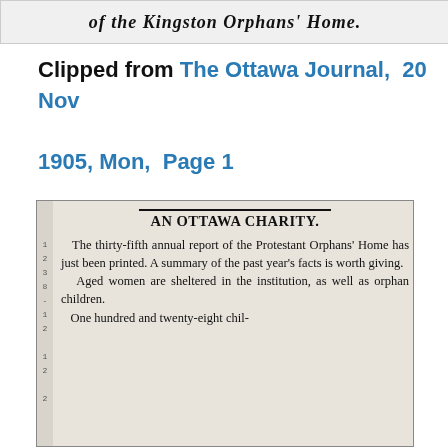[Figure (photo): Top portion of a newspaper clipping showing partial text 'of the Kingston Orphans' Home.' in serif italic bold font, clipped at the top of the page.]
Clipped from The Ottawa Journal, 20 Nov 1905, Mon, Page 1
[Figure (photo): Newspaper clipping from The Ottawa Journal showing article titled 'AN OTTAWA CHARITY.' The article text reads: 'The thirty-fifth annual report of the Protestant Orphans' Home has just been printed. A summary of the past year's facts is worth giving. Aged women are sheltered in the institution, as well as orphan children. One hundred and twenty-eight chil-' (clipped). Left margin has line numbers 1-8 and additional numbers.]